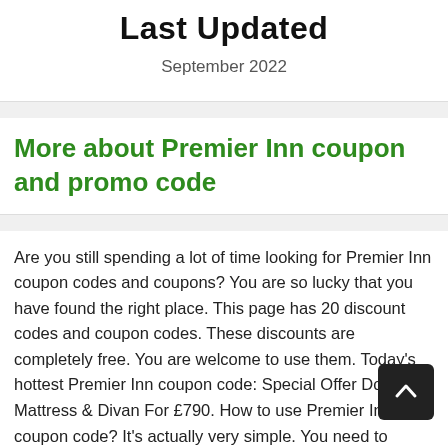Last Updated
September 2022
More about Premier Inn coupon and promo code
Are you still spending a lot of time looking for Premier Inn coupon codes and coupons? You are so lucky that you have found the right place. This page has 20 discount codes and coupon codes. These discounts are completely free. You are welcome to use them. Today's hottest Premier Inn coupon code: Special Offer Double Mattress & Divan For £790. How to use Premier Inn coupon code? It's actually very simple. You need to follow the following 3 steps, your discount will be automatically applied to the total amount: 1. First copy the code you selected to the clipboard; 2. Go to Premier Inn 's website and buy your favorite products; 3. Add the promo code to the promotion box before